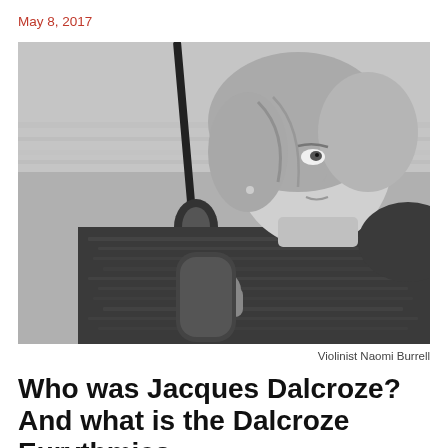May 8, 2017
[Figure (photo): Black and white photograph of violinist Naomi Burrell holding a violin, looking upward, with water in the background]
Violinist Naomi Burrell
Who was Jacques Dalcroze? And what is the Dalcroze Eurythmics